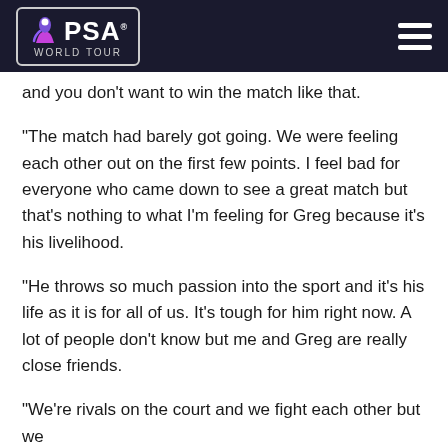PSA WORLD TOUR
and you don’t want to win the match like that.
“The match had barely got going. We were feeling each other out on the first few points. I feel bad for everyone who came down to see a great match but that’s nothing to what I’m feeling for Greg because it’s his livelihood.
“He throws so much passion into the sport and it’s his life as it is for all of us. It’s tough for him right now. A lot of people don’t know but me and Greg are really close friends.
“We’re rivals on the court and we fight each other but we